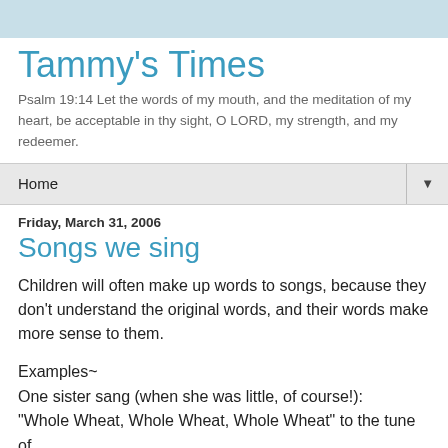Tammy's Times
Psalm 19:14 Let the words of my mouth, and the meditation of my heart, be acceptable in thy sight, O LORD, my strength, and my redeemer.
Home
Friday, March 31, 2006
Songs we sing
Children will often make up words to songs, because they don't understand the original words, and their words make more sense to them.
Examples~
One sister sang (when she was little, of course!):
"Whole Wheat, Whole Wheat, Whole Wheat" to the tune of
"Holy, Holy, Holy." She may not have known what "Holy"